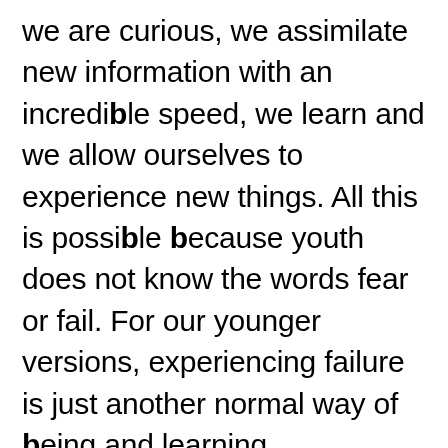we are curious, we assimilate new information with an incredible speed, we learn and we allow ourselves to experience new things. All this is possible because youth does not know the words fear or fail. For our younger versions, experiencing failure is just another normal way of being and learning.

As we get older, it becomes more difficult to experience growth. Not only do we come to learn the meaning of the two dreaded “f -words”, but we also start building ideas of who we are and we